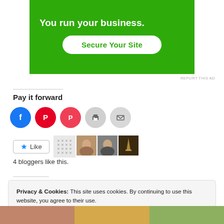[Figure (screenshot): Green ad banner with white bold text 'You run your business.' and a white rounded button 'Secure Your Site' in green text]
REPORT THIS AD
Pay it forward
[Figure (infographic): Row of social sharing icon circles: Facebook (blue), Pinterest (red), Pocket (red), Print (grey), Email (grey)]
[Figure (infographic): Like button with star and avatars of 4 bloggers who liked this post]
4 bloggers like this.
Privacy & Cookies: This site uses cookies. By continuing to use this website, you agree to their use.
To find out more, including how to control cookies, see here: Cookie Policy
[Figure (screenshot): Bottom thumbnail images strip showing food/travel photos]